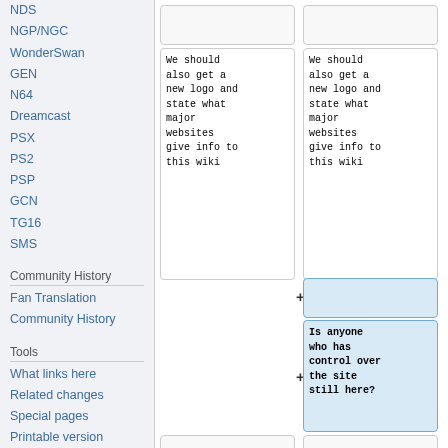NDS
NGP/NGC
WonderSwan
GEN
N64
Dreamcast
PSX
PS2
PSP
GCN
TG16
SMS
Community History
Fan Translation Community History
Tools
What links here
Related changes
Special pages
Printable version
Permanent link
Page information
We should also get a new logo and state what major websites give info to this wiki
We should also get a new logo and state what major websites give info to this wiki
Is anyone who has control over the site still here?
== Dutch Allies ==
== Dutch Allies ==